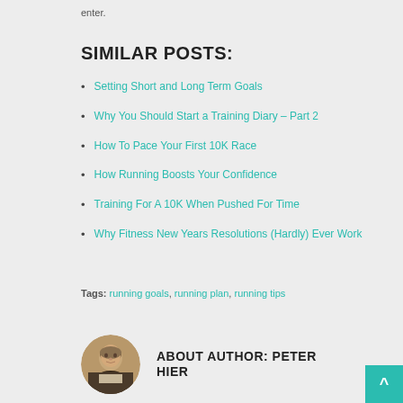enter.
SIMILAR POSTS:
Setting Short and Long Term Goals
Why You Should Start a Training Diary – Part 2
How To Pace Your First 10K Race
How Running Boosts Your Confidence
Training For A 10K When Pushed For Time
Why Fitness New Years Resolutions (Hardly) Ever Work
Tags: running goals, running plan, running tips
ABOUT AUTHOR: PETER HIER
[Figure (photo): Circular portrait photo of author Peter Hier, an older man in a suit]